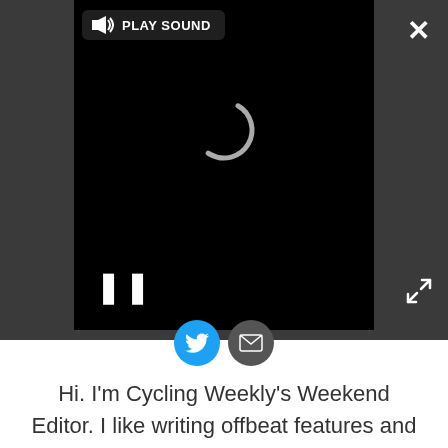[Figure (screenshot): Video player with dark background showing a loading spinner and pause button, with a 'PLAY SOUND' overlay bar at top left, a close (X) button at top right, and a fullscreen icon at bottom right. Below the player are Twitter and email social sharing circular buttons.]
Hi. I'm Cycling Weekly's Weekend Editor. I like writing offbeat features and eating too much bread when working out on the road at bike races.
Before joining Cycling Weekly I worked at The Tab and I've also written for Vice.